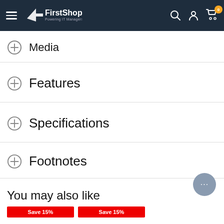FirstShop - Powering IT Managers
Media
Features
Specifications
Footnotes
You may also like